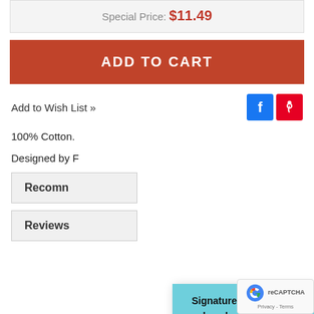Special Price: $11.49
ADD TO CART
Add to Wish List »
100% Cotton.
Designed by F
Recomn
Reviews
[Figure (screenshot): Popup modal with cyan header showing 'Signature & Exclusive download patterns are 30% OFF!' with a countdown timer showing 00 Day, 18 Hr, 01 Min and a red SHOP NOW button]
[Figure (other): reCAPTCHA badge with logo and Privacy - Terms text]